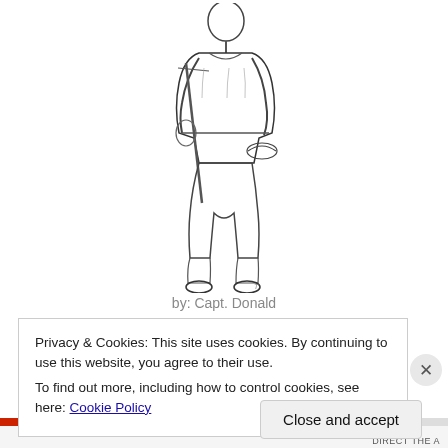[Figure (illustration): Pencil sketch / graphite illustration of a soldier in combat uniform carrying a rifle over his shoulder and holding a hat, depicted in full figure from head to toe, in grayscale.]
by: Capt. Donald
Privacy & Cookies: This site uses cookies. By continuing to use this website, you agree to their use.
To find out more, including how to control cookies, see here: Cookie Policy